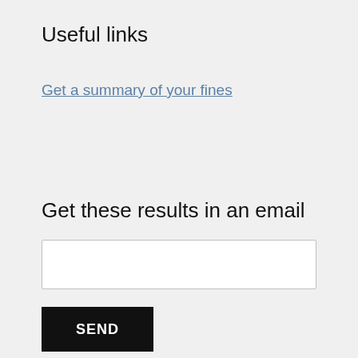Useful links
Get a summary of your fines
Get these results in an email
SEND